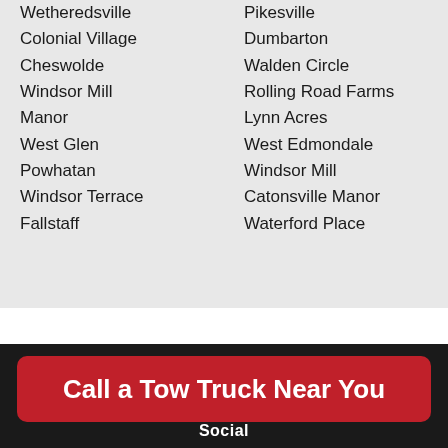Wetheredsville
Colonial Village
Cheswolde
Windsor Mill
Manor
West Glen
Powhatan
Windsor Terrace
Fallstaff
Pikesville
Dumbarton
Walden Circle
Rolling Road Farms
Lynn Acres
West Edmondale
Windsor Mill
Catonsville Manor
Waterford Place
Call a Tow Truck Near You
Social